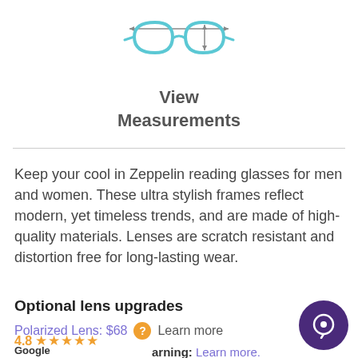[Figure (illustration): Eyeglasses icon with measurement arrows showing width (horizontal) and height (vertical), drawn in teal/cyan color]
View
Measurements
Keep your cool in Zeppelin reading glasses for men and women. These ultra stylish frames reflect modern, yet timeless trends, and are made of high-quality materials. Lenses are scratch resistant and distortion free for long-lasting wear.
Optional lens upgrades
Polarized Lens: $68  ?  Learn more
4.8 ★★★★★
Google
Customer Reviews
arning: Learn more.